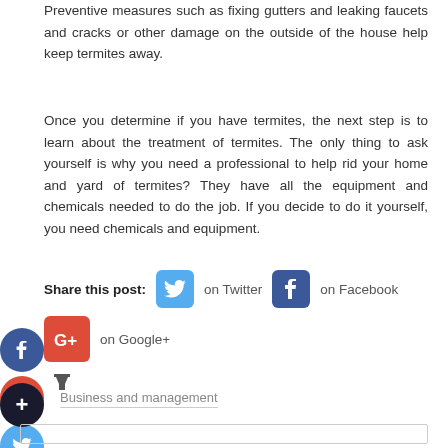Preventive measures such as fixing gutters and leaking faucets and cracks or other damage on the outside of the house help keep termites away.
Once you determine if you have termites, the next step is to learn about the treatment of termites. The only thing to ask yourself is why you need a professional to help rid your home and yard of termites? They have all the equipment and chemicals needed to do the job. If you decide to do it yourself, you need chemicals and equipment.
Share this post: on Twitter on Facebook on Google+
Business and management